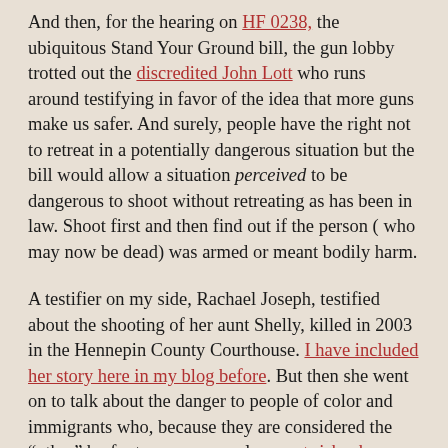And then, for the hearing on HF 0238, the ubiquitous Stand Your Ground bill, the gun lobby trotted out the discredited John Lott who runs around testifying in favor of the idea that more guns make us safer. And surely, people have the right not to retreat in a potentially dangerous situation but the bill would allow a situation perceived to be dangerous to shoot without retreating as has been in law. Shoot first and then find out if the person ( who may now be dead) was armed or meant bodily harm.
A testifier on my side, Rachael Joseph, testified about the shooting of her aunt Shelly, killed in 2003 in the Hennepin County Courthouse. I have included her story here in my blog before. But then she went on to talk about the danger to people of color and immigrants who, because they are considered the "other" by far too many people, are at risk when Stand Your Ground laws are enacted. We already know about Trayvon Martin and Jordan Davis. Rachael wanted to talk about the recent shooting of 5 black men at a Minneapolis Black Lives Matter gathering in 2015. Four white men drove to the